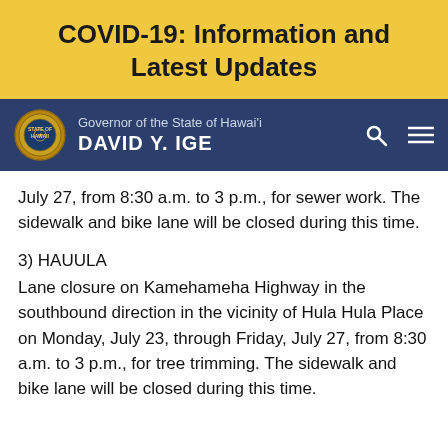COVID-19: Information and Latest Updates
Governor of the State of Hawai'i DAVID Y. IGE
July 27, from 8:30 a.m. to 3 p.m., for sewer work. The sidewalk and bike lane will be closed during this time.
3) HAUULA
Lane closure on Kamehameha Highway in the southbound direction in the vicinity of Hula Hula Place on Monday, July 23, through Friday, July 27, from 8:30 a.m. to 3 p.m., for tree trimming. The sidewalk and bike lane will be closed during this time.